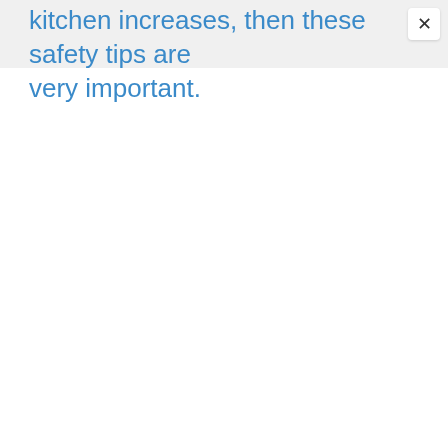kitchen increases, then these safety tips are very important.